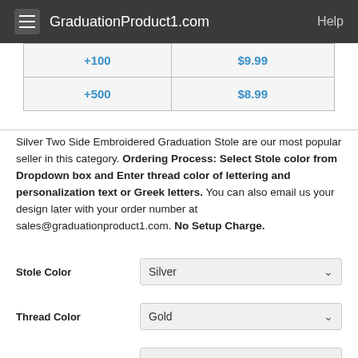GraduationProduct1.com  Help
| +100 | $9.99 |
| +500 | $8.99 |
Silver Two Side Embroidered Graduation Stole are our most popular seller in this category. Ordering Process: Select Stole color from Dropdown box and Enter thread color of lettering and personalization text or Greek letters. You can also email us your design later with your order number at sales@graduationproduct1.com. No Setup Charge.
Stole Color: Silver
Thread Color: Gold
Customization on Left
Customization on Right
Qty: 10